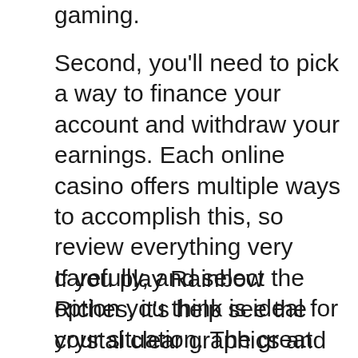gaming.
Second, you'll need to pick a way to finance your account and withdraw your earnings. Each online casino offers multiple ways to accomplish this, so review everything very carefully, and select the option you think is ideal for your situation. The great thing of this step ultimately process, is the payment option you select, will almost assuredly work for ever other online casino you choose to join.
If you play Rainbow Riches, it's help see the crystal clear graphics and the cool sound effects. Jingling coins and leprechauns and rainbows and pots of gold are very well rendered. Slots have advanced quite a bit